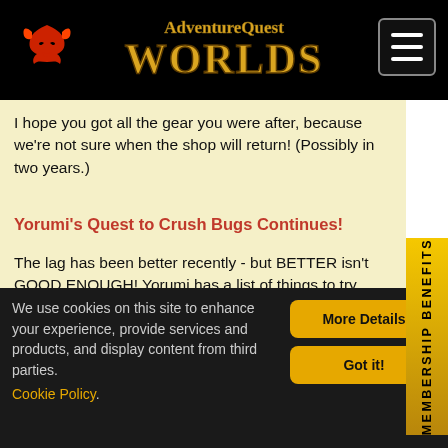AdventureQuest Worlds
I hope you got all the gear you were after, because we're not sure when the shop will return! (Possibly in two years.)
Yorumi's Quest to Crush Bugs Continues!
The lag has been better recently - but BETTER isn't GOOD ENOUGH! Yorumi has a list of things to try which should hopefully help reduce lag... or show us what else might! He also fixed one very colorful chat bug over the weekend and another earlier today.
With your help in reporting the botters and cheaters
We use cookies on this site to enhance your experience, provide services and products, and display content from third parties. Cookie Policy.